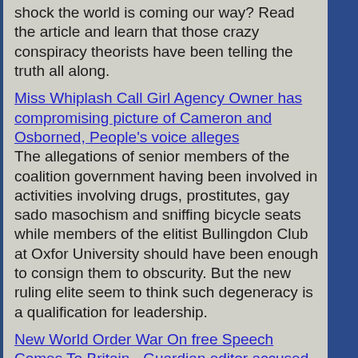shock the world is coming our way? Read the article and learn that those crazy conspiracy theorists have been telling the truth all along.
Miss Whiplash Call Girl Agency Owner has compromising picture of Cameron and Osborned, People's voice alleges
The allegations of senior members of the coalition government having been involved in activities involving drugs, prostitutes, gay sado masochism and sniffing bicycle seats while members of the elitist Bullingdon Club at Oxfor University should have been enough to consign them to obscurity. But the new ruling elite seem to think such degeneracy is a qualification for leadership.
New World Order War On free Speech Comes To Britain - Guardian editor accused of treason
The right to free speech is under threat from intolerant, authoritarian elitists, call them The Illuminati, New World Order, Scientific Dictatorshgip, Global Elite, whatever. Their goal is